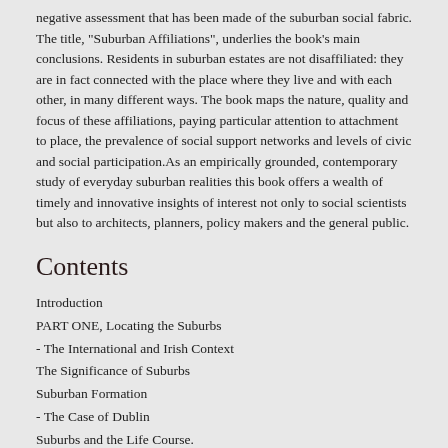negative assessment that has been made of the suburban social fabric. The title, "Suburban Affiliations", underlies the book's main conclusions. Residents in suburban estates are not disaffiliated: they are in fact connected with the place where they live and with each other, in many different ways. The book maps the nature, quality and focus of these affiliations, paying particular attention to attachment to place, the prevalence of social support networks and levels of civic and social participation.As an empirically grounded, contemporary study of everyday suburban realities this book offers a wealth of timely and innovative insights of interest not only to social scientists but also to architects, planners, policy makers and the general public.
Contents
Introduction
PART ONE, Locating the Suburbs
- The International and Irish Context
The Significance of Suburbs
Suburban Formation
- The Case of Dublin
Suburbs and the Life Course.
PART TWO, Attachment and Belonging in Suburbia
- Suburban Pastoralism and Sense of Place